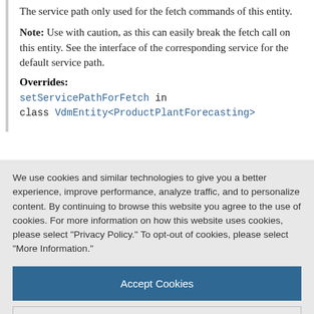The service path only used for the fetch commands of this entity.
Note: Use with caution, as this can easily break the fetch call on this entity. See the interface of the corresponding service for the default service path.
Overrides:
setServicePathForFetch in class VdmEntity<ProductPlantForecasting>
We use cookies and similar technologies to give you a better experience, improve performance, analyze traffic, and to personalize content. By continuing to browse this website you agree to the use of cookies. For more information on how this website uses cookies, please select "Privacy Policy." To opt-out of cookies, please select "More Information."
Accept Cookies
More Information
Privacy Policy | Powered by: TrustArc
context for the fetch commands of this entity.